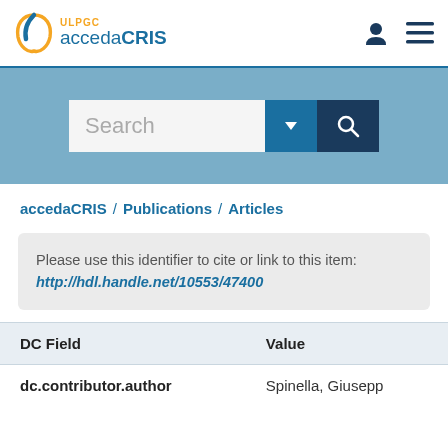[Figure (logo): accedaCRIS ULPGC logo with navigation icons]
[Figure (screenshot): Search bar with dropdown and search button on blue background]
accedaCRIS / Publications / Articles
Please use this identifier to cite or link to this item: http://hdl.handle.net/10553/47400
| DC Field | Value |
| --- | --- |
| dc.contributor.author | Spinella, Giusepp |